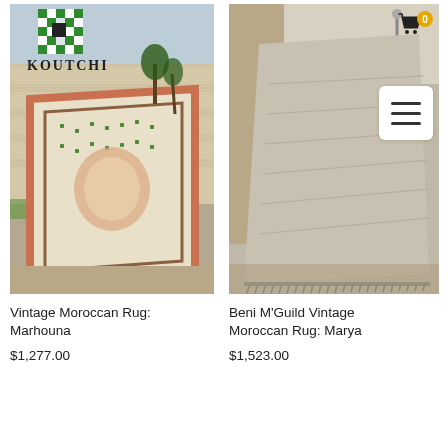[Figure (photo): Left product: Vintage Moroccan Rug Marhouna displayed outdoors against stone wall, with KOUTCHI logo overlaid on the image. Rug has cream, green and pink geometric patterns.]
Vintage Moroccan Rug: Marhouna
$1,277.00
[Figure (photo): Right product: Beni M'Guild Vintage Moroccan Rug Marya displayed outdoors, large plain gray/beige rug with fringed bottom. Cart icon and hamburger menu overlaid on image.]
Beni M'Guild Vintage Moroccan Rug: Marya
$1,523.00